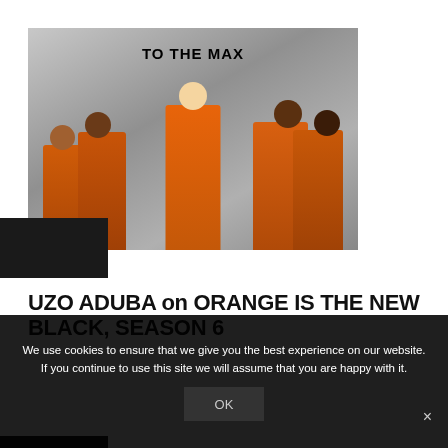[Figure (photo): Promotional photo for Orange Is The New Black Season 6 TV show. Five women in orange prison uniforms posed against a gray metal wall. Text 'TO THE MAX' appears at top of image.]
Push me
UZO ADUBA on ORANGE IS THE NEW BLACK, SEASON 6
We use cookies to ensure that we give you the best experience on our website. If you continue to use this site we will assume that you are happy with it.
OK